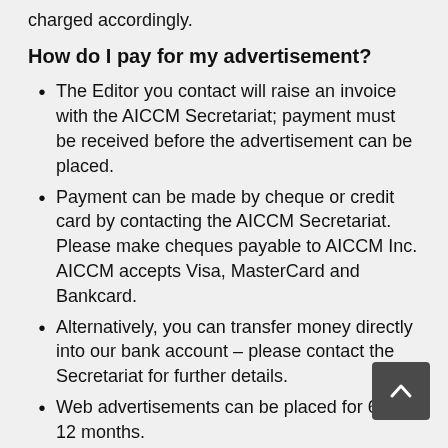charged accordingly.
How do I pay for my advertisement?
The Editor you contact will raise an invoice with the AICCM Secretariat; payment must be received before the advertisement can be placed.
Payment can be made by cheque or credit card by contacting the AICCM Secretariat. Please make cheques payable to AICCM Inc. AICCM accepts Visa, MasterCard and Bankcard.
Alternatively, you can transfer money directly into our bank account – please contact the Secretariat for further details.
Web advertisements can be placed for 6 or 12 months.
Advertisers are responsible for renewing advertisements on expiration of their advertising